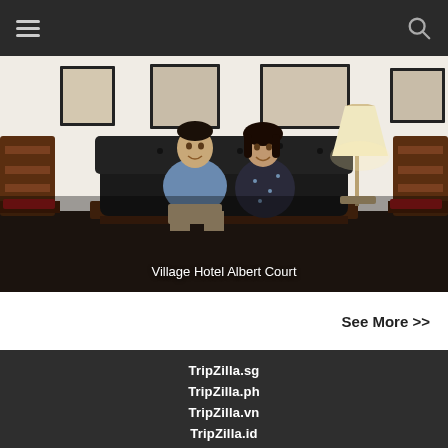Navigation bar with hamburger menu and search icon
[Figure (photo): Two young people (a man and a woman) sitting on a dark leather sofa in a hotel lobby. Behind them are framed pictures on white walls and a table lamp. Dark wooden chairs with red cushions are visible on the sides. Caption reads: Village Hotel Albert Court]
Village Hotel Albert Court
See More >>
TripZilla.sg
TripZilla.ph
TripZilla.vn
TripZilla.id